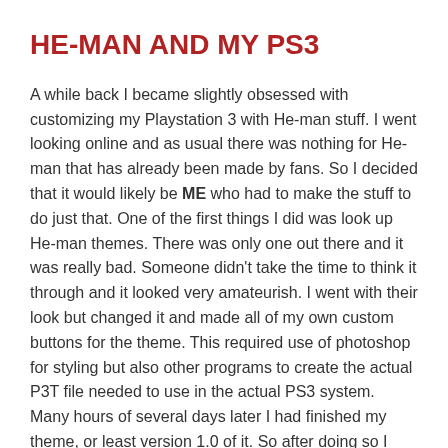HE-MAN AND MY PS3
A while back I became slightly obsessed with customizing my Playstation 3 with He-man stuff. I went looking online and as usual there was nothing for He-man that has already been made by fans. So I decided that it would likely be ME who had to make the stuff to do just that. One of the first things I did was look up He-man themes. There was only one out there and it was really bad. Someone didn't take the time to think it through and it looked very amateurish. I went with their look but changed it and made all of my own custom buttons for the theme. This required use of photoshop for styling but also other programs to create the actual P3T file needed to use in the actual PS3 system. Many hours of several days later I had finished my theme, or least version 1.0 of it. So after doing so I posted it online to the various free PS3 theme websites like allps3themes.com and bestps3themes.com. Here is